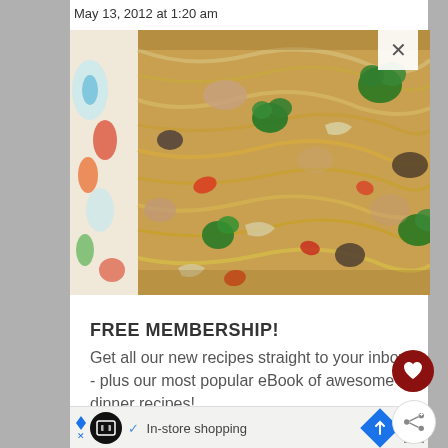May 13, 2012 at 1:20 am
[Figure (photo): A close-up photo of a stir-fry dish with noodles, chicken, broccoli, carrots, mushrooms, and cabbage in a large pan with a decorative floral border]
FREE MEMBERSHIP!
Get all our new recipes straight to your inbox - plus our most popular eBook of awesome dinner recipes!
[Figure (other): Advertisement bar with logo, 'In-store shopping' text with checkmark, map navigation icon, and close button]